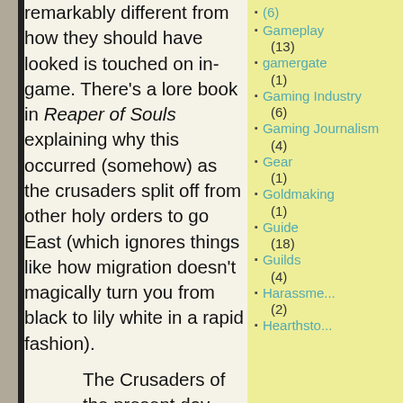remarkably different from how they should have looked is touched on in-game. There's a lore book in Reaper of Souls explaining why this occurred (somehow) as the crusaders split off from other holy orders to go East (which ignores things like how migration doesn't magically turn you from black to lily white in a rapid fashion).
The Crusaders of the present day differ...
Gameplay (13)
gamergate (1)
Gaming Industry (6)
Gaming Journalism (4)
Gear (1)
Goldmaking (1)
Guide (18)
Guilds (4)
Harassment (2)
Hearthstone